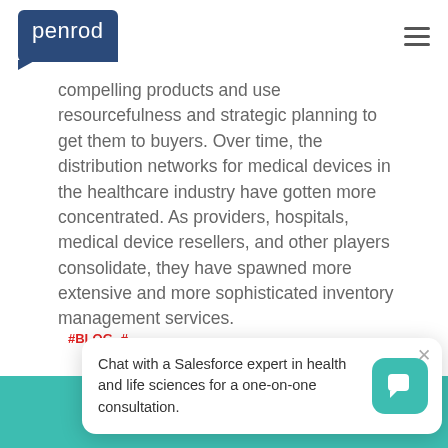penrod
compelling products and use resourcefulness and strategic planning to get them to buyers. Over time, the distribution networks for medical devices in the healthcare industry have gotten more concentrated. As providers, hospitals, medical device resellers, and other players consolidate, they have spawned more extensive and more sophisticated inventory management services.
#BLOG #...
[Figure (screenshot): Chat popup: 'Chat with a Salesforce expert in health and life sciences for a one-on-one consultation.' with teal Penrod logo icon and close button.]